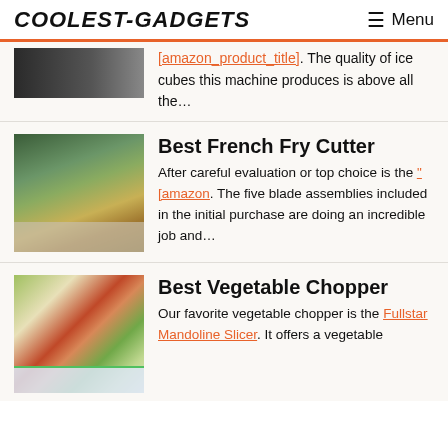COOLEST-GADGETS   Menu
of ice cubes this machine produces is above all the…
Best French Fry Cutter
After careful evaluation or top choice is the "[amazon. The five blade assemblies included in the initial purchase are doing an incredible job and…
Best Vegetable Chopper
Our favorite vegetable chopper is the Fullstar Mandoline Slicer. It offers a vegetable